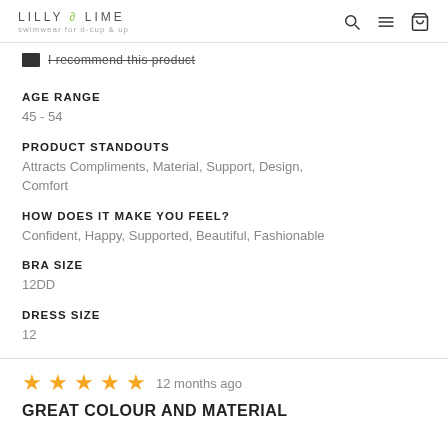LILLY & LIME swimwear for d-cup & up
I recommend this product
AGE RANGE
45 - 54
PRODUCT STANDOUTS
Attracts Compliments, Material, Support, Design, Comfort
HOW DOES IT MAKE YOU FEEL?
Confident, Happy, Supported, Beautiful, Fashionable
BRA SIZE
12DD
DRESS SIZE
12
12 months ago
GREAT COLOUR AND MATERIAL